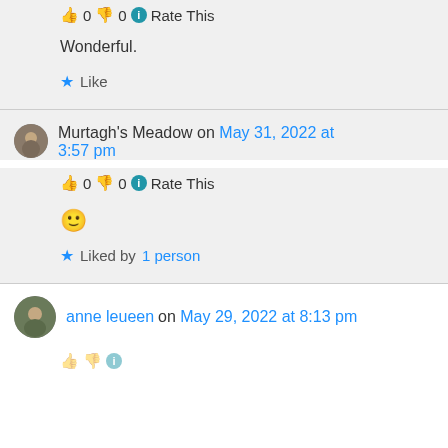👍 0 👎 0 ℹ Rate This
Wonderful.
★ Like
Murtagh's Meadow on May 31, 2022 at 3:57 pm
👍 0 👎 0 ℹ Rate This
🙂
★ Liked by 1 person
anne leueen on May 29, 2022 at 8:13 pm